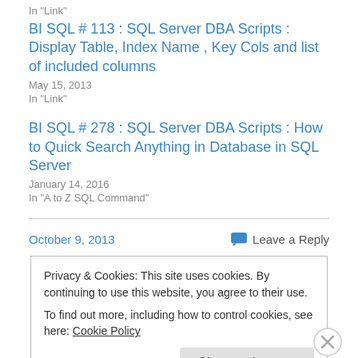In "Link"
BI SQL # 113 : SQL Server DBA Scripts : Display Table, Index Name , Key Cols and list of included columns
May 15, 2013
In "Link"
BI SQL # 278 : SQL Server DBA Scripts : How to Quick Search Anything in Database in SQL Server
January 14, 2016
In "A to Z SQL Command"
October 9, 2013
Leave a Reply
Privacy & Cookies: This site uses cookies. By continuing to use this website, you agree to their use.
To find out more, including how to control cookies, see here: Cookie Policy
Close and accept